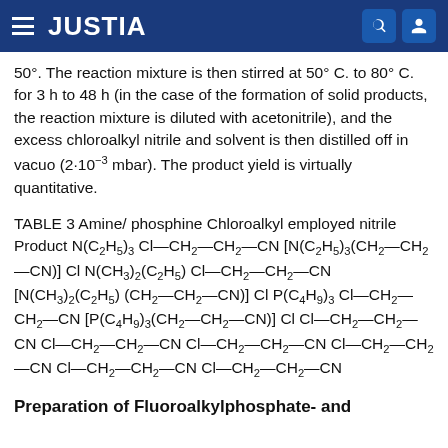JUSTIA
50°. The reaction mixture is then stirred at 50° C. to 80° C. for 3 h to 48 h (in the case of the formation of solid products, the reaction mixture is diluted with acetonitrile), and the excess chloroalkyl nitrile and solvent is then distilled off in vacuo (2·10⁻³ mbar). The product yield is virtually quantitative.
TABLE 3 Amine/ phosphine Chloroalkyl employed nitrile Product N(C₂H₅)₃ Cl—CH₂—CH₂—CN [N(C₂H₅)₃(CH₂—CH₂—CN)] Cl N(CH₃)₂(C₂H₅) Cl—CH₂—CH₂—CN [N(CH₃)₂(C₂H₅) (CH₂—CH₂—CN)] Cl P(C₄H₉)₃ Cl—CH₂—CH₂—CN [P(C₄H₉)₃(CH₂—CH₂—CN)] Cl Cl—CH₂—CH₂—CN Cl—CH₂—CH₂—CN Cl—CH₂—CH₂—CN Cl—CH₂—CH₂—CN Cl—CH₂—CH₂—CN Cl—CH₂—CH₂—CN
Preparation of Fluoroalkylphosphate- and